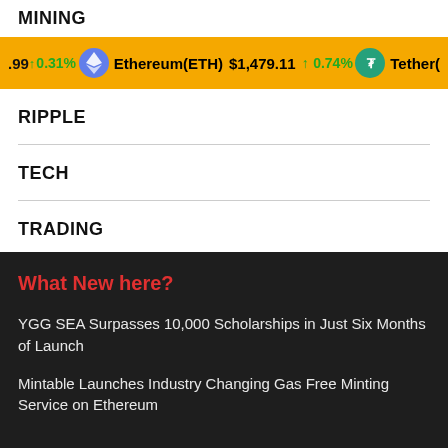MINING
.99 ↑0.31%   Ethereum(ETH)  $1,479.11  ↑0.74%   Tether(
RIPPLE
TECH
TRADING
What New here?
YGG SEA Surpasses 10,000 Scholarships in Just Six Months of Launch
Mintable Launches Industry Changing Gas Free Minting Service on Ethereum